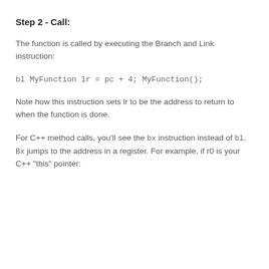Step 2 - Call:
The function is called by executing the Branch and Link instruction:
bl MyFunction lr = pc + 4; MyFunction();
Note how this instruction sets lr to be the address to return to when the function is done.
For C++ method calls, you'll see the bx instruction instead of bl. Bx jumps to the address in a register. For example, if r0 is your C++ "this" pointer: